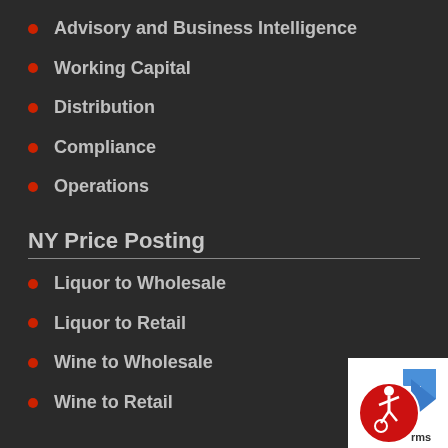Advisory and Business Intelligence
Working Capital
Distribution
Compliance
Operations
NY Price Posting
Liquor to Wholesale
Liquor to Retail
Wine to Wholesale
Wine to Retail
[Figure (logo): Accessibility logo with person in wheelchair and blue arrow, with text 'rms']